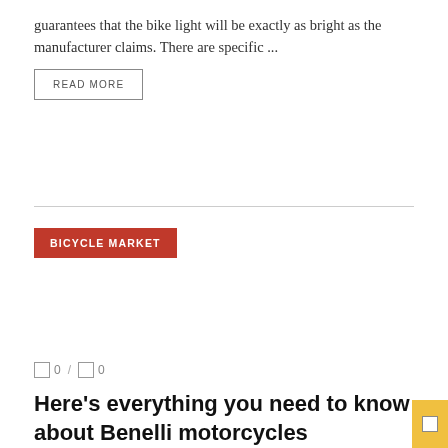guarantees that the bike light will be exactly as bright as the manufacturer claims. There are specific ...
READ MORE
BICYCLE MARKET
0 / 0
Here’s everything you need to know about Benelli motorcycles